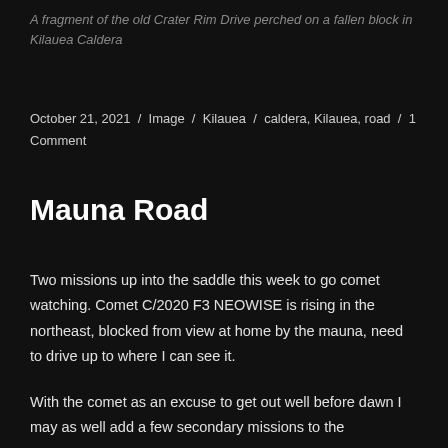A fragment of the old Crater Rim Drive perched on a fallen block in Kilauea Caldera
October 21, 2021 / Image / Kilauea / caldera, Kilauea, road / 1 Comment
Mauna Road
Two missions up into the saddle this week to go comet watching. Comet C/2020 F3 NEOWISE is rising in the northeast, blocked from view at home by the mauna, need to drive up to where I can see it.
With the comet as an excuse to get out well before dawn I may as well add a few secondary missions to the